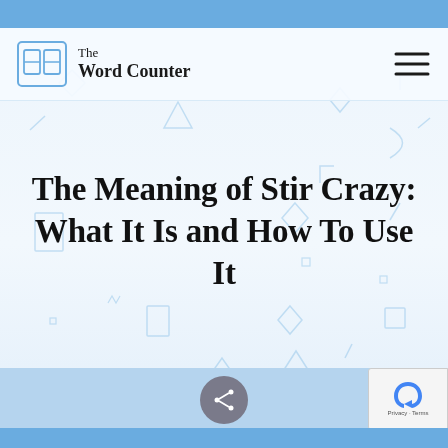The Word Counter
The Meaning of Stir Crazy: What It Is and How To Use It